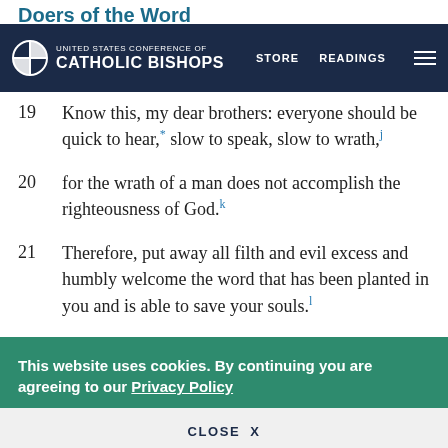UNITED STATES CONFERENCE OF CATHOLIC BISHOPS — STORE  READINGS
Doers of the Word
19  Know this, my dear brothers: everyone should be quick to hear,* slow to speak, slow to wrath,j
20  for the wrath of a man does not accomplish the righteousness of God.k
21  Therefore, put away all filth and evil excess and humbly welcome the word that has been planted in you and is able to save your souls.l
This website uses cookies. By continuing you are agreeing to our Privacy Policy
CLOSE  X